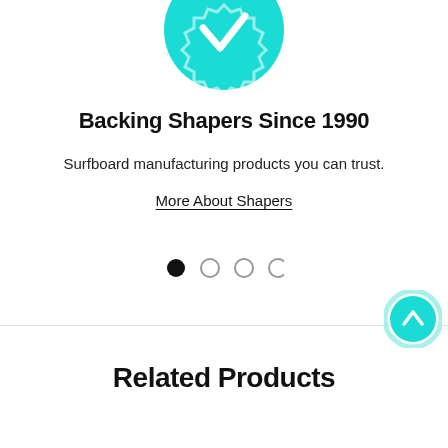[Figure (illustration): Teal/cyan circular badge icon with a checkmark, partially cropped at top of page]
Backing Shapers Since 1990
Surfboard manufacturing products you can trust.
More About Shapers
[Figure (other): Carousel pagination dots: one filled black dot followed by three empty circle dots]
[Figure (other): Teal scroll-to-top button with upward chevron arrow, positioned bottom right]
Related Products